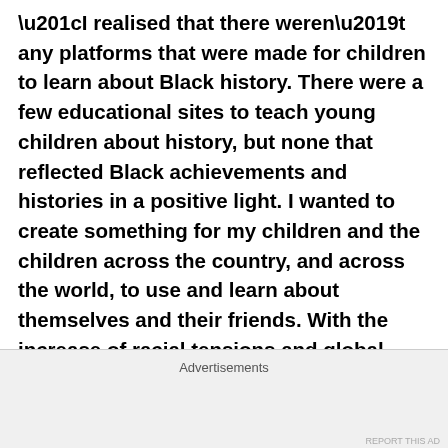“I realised that there weren’t any platforms that were made for children to learn about Black history. There were a few educational sites to teach young children about history, but none that reflected Black achievements and histories in a positive light. I wanted to create something for my children and the children across the country, and across the world, to use and learn about themselves and their friends. With the increase of racial tensions and global pandemic meaning that parents will be homeschooling, I knew this would be the best time for parents to help educate their children on the importance of Black history, that often isn’t included in the UK curriculum. It’s
Advertisements